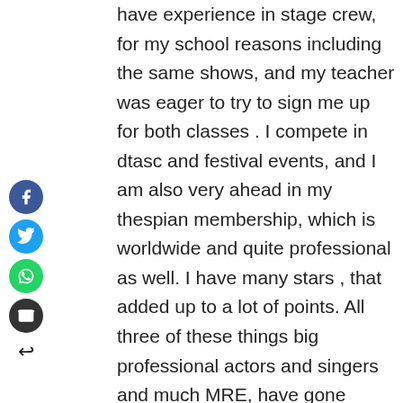[Figure (other): Social media share buttons (Facebook, Twitter, WhatsApp, Email) and a back arrow icon arranged vertically on the left side of the page.]
have experience in stage crew, for my school reasons including the same shows, and my teacher was eager to try to sign me up for both classes . I compete in dtasc and festival events, and I am also very ahead in my thespian membership, which is worldwide and quite professional as well. I have many stars , that added up to a lot of points. All three of these things big professional actors and singers and much MRE, have gone through, such as Nicholas Cage, Shailene Woodley, and much more. I've actually met a lot of those stars when they come to